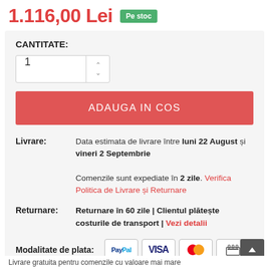1.116,00 Lei  Pe stoc
CANTITATE:
ADAUGA IN COS
Livrare: Data estimata de livrare între luni 22 August și vineri 2 Septembrie. Comenzile sunt expediate în 2 zile. Verifica Politica de Livrare și Returnare
Returnare: Returnare în 60 zile | Clientul plătește costurile de transport | Vezi detalii
Modalitate de plata: PayPal VISA Mastercard Bank
Livrare gratuita pentru comenzile cu valoare mai mare